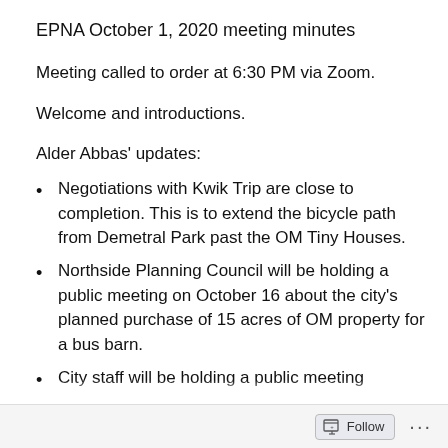EPNA October 1, 2020 meeting minutes
Meeting called to order at 6:30 PM via Zoom.
Welcome and introductions.
Alder Abbas’ updates:
Negotiations with Kwik Trip are close to completion. This is to extend the bicycle path from Demetral Park past the OM Tiny Houses.
Northside Planning Council will be holding a public meeting on October 16 about the city’s planned purchase of 15 acres of OM property for a bus barn.
City staff will be holding a public meeting sometime in November about the bus barn as well
Follow